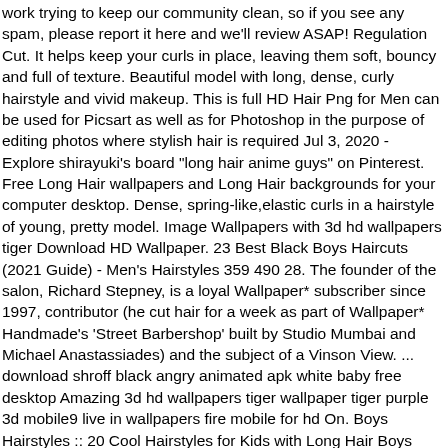work trying to keep our community clean, so if you see any spam, please report it here and we'll review ASAP! Regulation Cut. It helps keep your curls in place, leaving them soft, bouncy and full of texture. Beautiful model with long, dense, curly hairstyle and vivid makeup. This is full HD Hair Png for Men can be used for Picsart as well as for Photoshop in the purpose of editing photos where stylish hair is required Jul 3, 2020 - Explore shirayuki's board "long hair anime guys" on Pinterest. Free Long Hair wallpapers and Long Hair backgrounds for your computer desktop. Dense, spring-like,elastic curls in a hairstyle of young, pretty model. Image Wallpapers with 3d hd wallpapers tiger Download HD Wallpaper. 23 Best Black Boys Haircuts (2021 Guide) - Men's Hairstyles 359 490 28. The founder of the salon, Richard Stepney, is a loyal Wallpaper* subscriber since 1997, contributor (he cut hair for a week as part of Wallpaper* Handmade's 'Street Barbershop' built by Studio Mumbai and Michael Anastassiades) and the subject of a Vinson View. ... download shroff black angry animated apk white baby free desktop Amazing 3d hd wallpapers tiger wallpaper tiger purple 3d mobile9 live in wallpapers fire mobile for hd On. Boys Hairstyles :: 20 Cool Hairstyles for Kids with Long Hair Boys Long Hairstyles: Boys certainly like to take the leverage of flaunting long hairstyles, one of the reasons being that